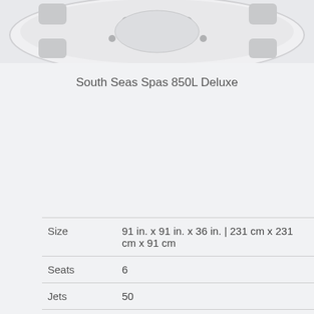[Figure (photo): Overhead view of South Seas Spas 850L Deluxe hot tub, partially cropped at top of page]
South Seas Spas 850L Deluxe
| Attribute | Value |
| --- | --- |
| Size | 91 in. x 91 in. x 36 in. | 231 cm x 231 cm x 91 cm |
| Seats | 6 |
| Jets | 50 |
| Capacity | 405 gal | 1533 L |
| Dry Weight | 803 lbs | 364 kg |
| Pump | 5.0 BHP (2.0 HP continuous) 2-Spd 5.0 BHP (3.0 |